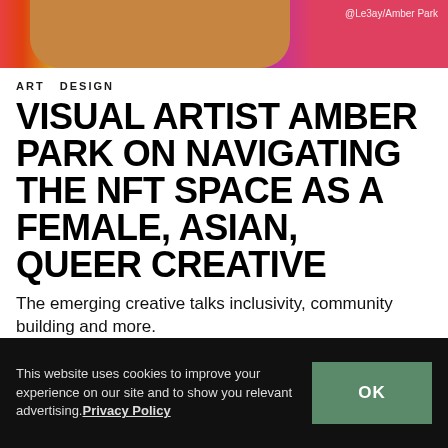[Figure (photo): Colorful rainbow-patterned background with a person's skin-toned arm/face visible, with credit '@Le3ay/Amber Park' in white text top right]
ART & DESIGN
VISUAL ARTIST AMBER PARK ON NAVIGATING THE NFT SPACE AS A FEMALE, ASIAN, QUEER CREATIVE
The emerging creative talks inclusivity, community building and more.
By YeEun Kim  Jun 2, 2022  🔥  4.3K
This website uses cookies to improve your experience on our site and to show you relevant advertising. Privacy Policy  OK